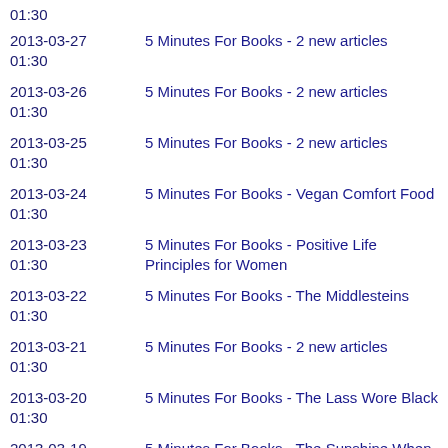2013-03-27 01:30 | 5 Minutes For Books - 2 new articles
2013-03-26 01:30 | 5 Minutes For Books - 2 new articles
2013-03-25 01:30 | 5 Minutes For Books - 2 new articles
2013-03-24 01:30 | 5 Minutes For Books - Vegan Comfort Food
2013-03-23 01:30 | 5 Minutes For Books - Positive Life Principles for Women
2013-03-22 01:30 | 5 Minutes For Books - The Middlesteins
2013-03-21 01:30 | 5 Minutes For Books - 2 new articles
2013-03-20 01:30 | 5 Minutes For Books - The Lass Wore Black
2013-03-19 01:30 | 5 Minutes For Books - The Sunshine When She's Gone
2013-03-18